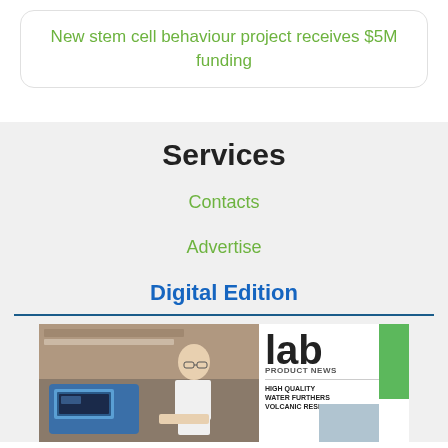New stem cell behaviour project receives $5M funding
Services
Contacts
Advertise
Digital Edition
[Figure (photo): Magazine cover of Lab Product News showing a scientist at a lab instrument and magazine cover with green branding, headline: HIGH QUALITY WATER FURTHERS VOLCANIC RESEARCH]